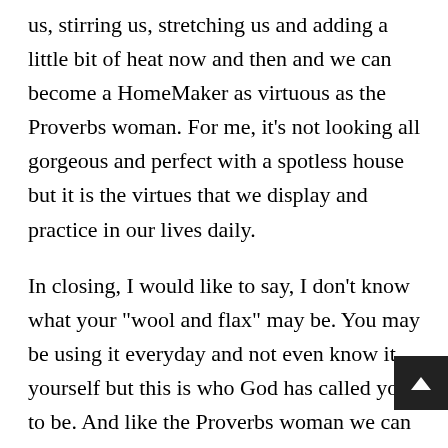us, stirring us, stretching us and adding a little bit of heat now and then and we can become a HomeMaker as virtuous as the Proverbs woman. For me, it’s not looking all gorgeous and perfect with a spotless house but it is the virtues that we display and practice in our lives daily.
In closing, I would like to say, I don’t know what your “wool and flax” may be. You may be using it everyday and not even know it yourself but this is who God has called you to be. And like the Proverbs woman we can use this, may it be your talents, your gifting or even something you enjoy doing, that can provide “food” for your friends or family and the world around you. With the Lord, it’s not impossible, we can all bake the perfe cake!